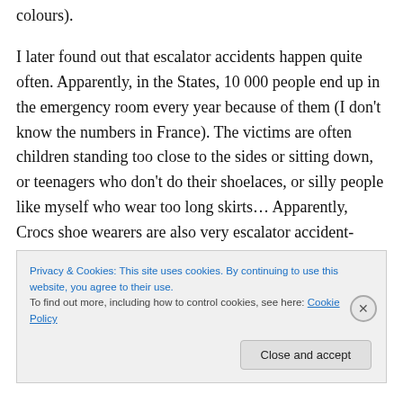colours).
I later found out that escalator accidents happen quite often. Apparently, in the States, 10 000 people end up in the emergency room every year because of them (I don't know the numbers in France). The victims are often children standing too close to the sides or sitting down, or teenagers who don't do their shoelaces, or silly people like myself who wear too long skirts… Apparently, Crocs shoe wearers are also very escalator accident-prone. And so are dogs. A friend of mine told me of a terrible accident
Privacy & Cookies: This site uses cookies. By continuing to use this website, you agree to their use.
To find out more, including how to control cookies, see here: Cookie Policy